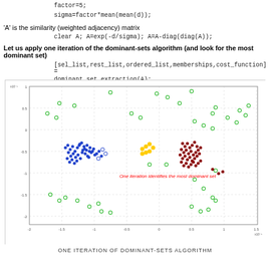factor=5;
sigma=factor*mean(mean(d));
'A' is the similarity (weighted adjacency) matrix
clear A; A=exp(-d/sigma); A=A-diag(diag(A));
Let us apply one iteration of the dominant-sets algorithm (and look for the most dominant set)
[sel_list,rest_list,ordered_list,memberships,cost_function] =
dominant_set_extraction(A);
[Figure (scatter-plot): Scatter plot showing one iteration of the dominant-sets algorithm. Blue filled dots form a dense cluster on the left, dark red/maroon filled dots form a cluster on the right (the most dominant set), yellow dots are near center, and green open circles are scattered throughout. Red italic text reads 'One iteration identifies the most dominant set'.]
ONE ITERATION OF DOMINANT-SETS ALGORITHM